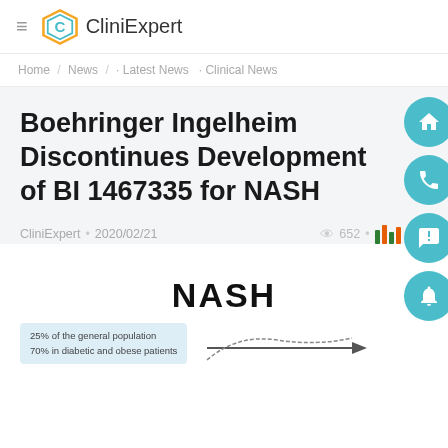CliniExpert
Home / News / - Latest News - Clinical News
Boehringer Ingelheim Discontinues Development of BI 1467335 for NASH
CliniExpert • 2020/02/21   652
[Figure (infographic): NASH infographic with large bold NASH text and a caption box reading '25% of the general population / 70% in diabetic and obese patients' with an arrow chart below]
25% of the general population
70% in diabetic and obese patients